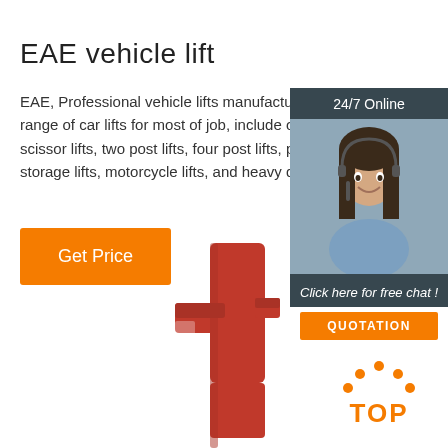EAE vehicle lift
EAE, Professional vehicle lifts manufacturer, range of car lifts for most of job, include of al scissor lifts, two post lifts, four post lifts, park storage lifts, motorcycle lifts, and heavy duty
Get Price
[Figure (photo): Customer service woman with headset, next to 24/7 Online label, Click here for free chat, and QUOTATION button]
[Figure (photo): Red metal vehicle lift arm component]
[Figure (logo): TOP badge with orange dots forming an arc above the word TOP in orange]